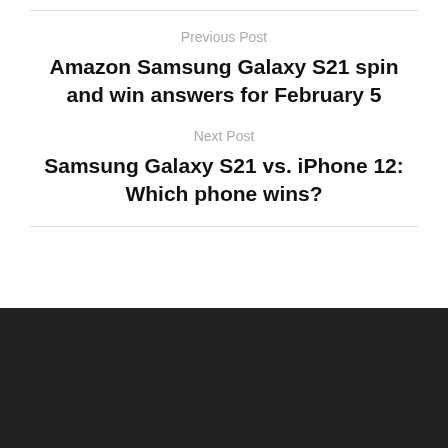Previous Post
Amazon Samsung Galaxy S21 spin and win answers for February 5
Next Post
Samsung Galaxy S21 vs. iPhone 12: Which phone wins?